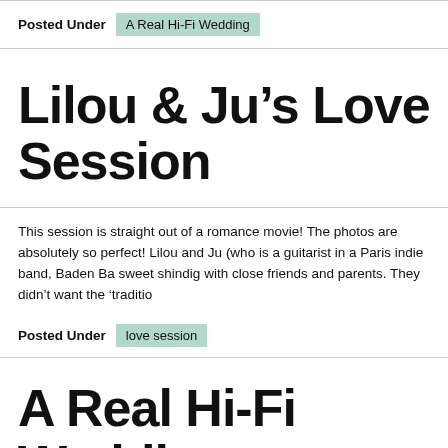Posted Under  A Real Hi-Fi Wedding
Lilou & Ju’s Love Session
This session is straight out of a romance movie! The photos are absolutely so perfect! Lilou and Ju (who is a guitarist in a Paris indie band, Baden Ba sweet shindig with close friends and parents. They didn’t want the ‘traditio
Posted Under  love session
A Real Hi-Fi Wedding: